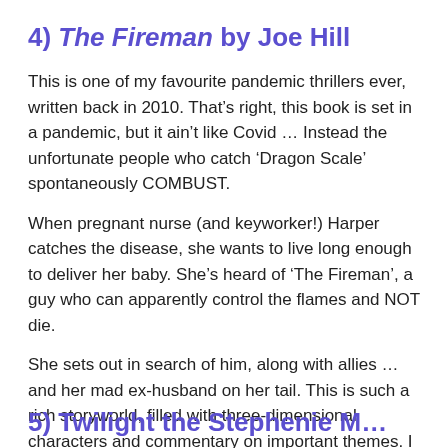4) The Fireman by Joe Hill
This is one of my favourite pandemic thrillers ever, written back in 2010. That’s right, this book is set in a pandemic, but it ain’t like Covid … Instead the unfortunate people who catch ‘Dragon Scale’ spontaneously COMBUST.
When pregnant nurse (and keyworker!) Harper catches the disease, she wants to live long enough to deliver her baby. She’s heard of ‘The Fireman’, a guy who can apparently control the flames and NOT die.
She sets out in search of him, along with allies … and her mad ex-husband on her tail. This is such a rich storyworld, filled with three-dimensional characters and commentary on important themes. I wanted the same for The Coven.
5) Twilight the Stephenie M...